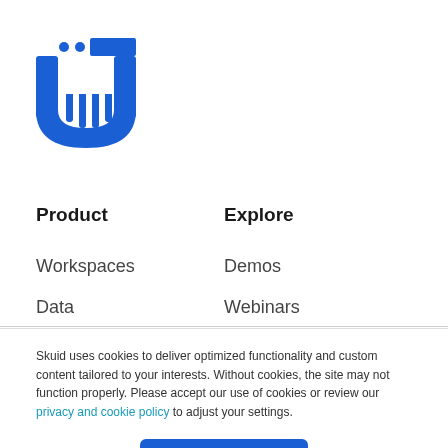[Figure (logo): Skuid logo — blue magnet/horseshoe U-shape with vertical lines and dots, with a rectangular blue element on top right]
Product
Explore
Workspaces
Demos
Data
Webinars
Skuid uses cookies to deliver optimized functionality and custom content tailored to your interests. Without cookies, the site may not function properly. Please accept our use of cookies or review our privacy and cookie policy to adjust your settings.
Accept